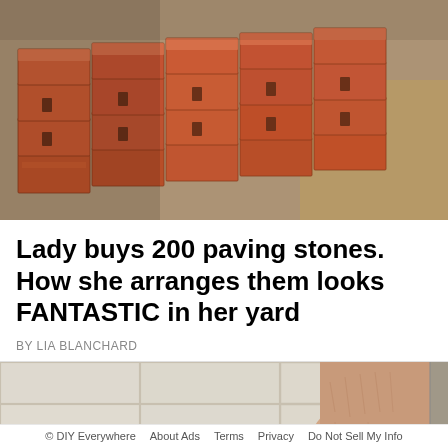[Figure (photo): Stack of red/orange clay paving bricks arranged outdoors on dirt ground, viewed from above at an angle]
Lady buys 200 paving stones. How she arranges them looks FANTASTIC in her yard
BY LIA BLANCHARD
[Figure (photo): Partial view of light-colored floor tiles and a person's leg, suggesting a DIY project in progress]
© DIY Everywhere   About Ads   Terms   Privacy   Do Not Sell My Info